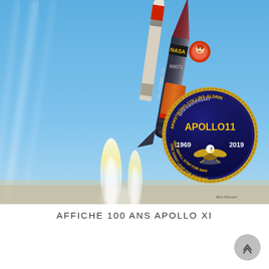[Figure (illustration): Illustration of a NASA rocket (marked '66671') launching upward at high speed with flame and smoke trails. An Apollo 11 50th Anniversary patch (Armstrong-Collins-Aldrin, 1969-2019) is visible in the lower right of the image. The rocket has orange fuel tanks labeled 'FUEL VENT' and 'FUEL JETTISON'. A small character/mascot is visible in a circular window on the rocket body. Artist signature visible at bottom right of the illustration.]
AFFICHE 100 ANS APOLLO XI